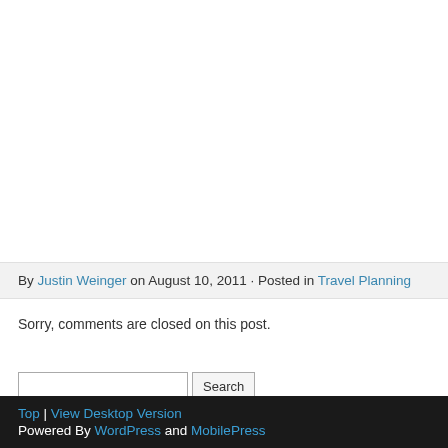By Justin Weinger on August 10, 2011 · Posted in Travel Planning
Sorry, comments are closed on this post.
Top | View Desktop Version
Powered By WordPress and MobilePress